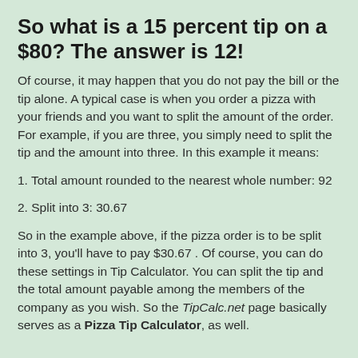So what is a 15 percent tip on a $80? The answer is 12!
Of course, it may happen that you do not pay the bill or the tip alone. A typical case is when you order a pizza with your friends and you want to split the amount of the order. For example, if you are three, you simply need to split the tip and the amount into three. In this example it means:
1. Total amount rounded to the nearest whole number: 92
2. Split into 3: 30.67
So in the example above, if the pizza order is to be split into 3, you'll have to pay $30.67 . Of course, you can do these settings in Tip Calculator. You can split the tip and the total amount payable among the members of the company as you wish. So the TipCalc.net page basically serves as a Pizza Tip Calculator, as well.